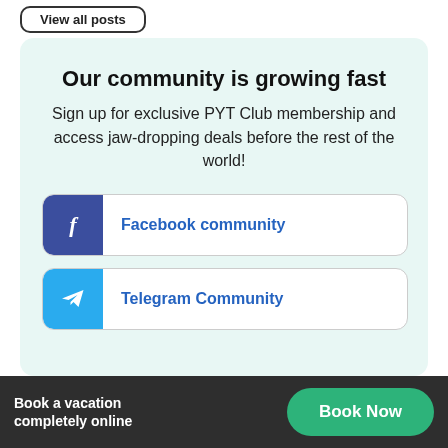View all posts
Our community is growing fast
Sign up for exclusive PYT Club membership and access jaw-dropping deals before the rest of the world!
Facebook community
Telegram Community
Book a vacation completely online
Book Now